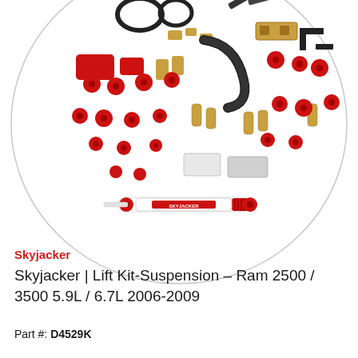[Figure (photo): Product photo showing a Skyjacker suspension lift kit with various components including red polyurethane bushings, metal brackets, hardware, and a red and white shock absorber, arranged on a white background within a circular frame.]
Skyjacker
Skyjacker | Lift Kit-Suspension - Ram 2500 / 3500 5.9L / 6.7L 2006-2009
Part #: D4529K